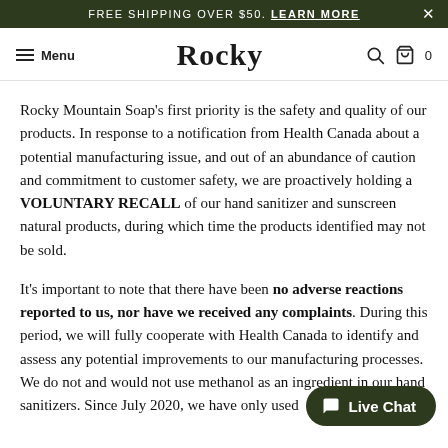FREE SHIPPING OVER $50. LEARN MORE
Menu | Rocky | 0
Rocky Mountain Soap's first priority is the safety and quality of our products. In response to a notification from Health Canada about a potential manufacturing issue, and out of an abundance of caution and commitment to customer safety, we are proactively holding a VOLUNTARY RECALL of our hand sanitizer and sunscreen natural products, during which time the products identified may not be sold.
It's important to note that there have been no adverse reactions reported to us, nor have we received any complaints. During this period, we will fully cooperate with Health Canada to identify and assess any potential improvements to our manufacturing p... not and would not use methanol as an ingredient in our hand sanitizers. Since July 2020, we have only used